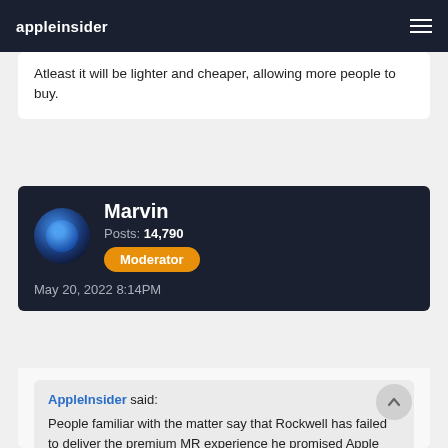appleinsider
Atleast it will be lighter and cheaper, allowing more people to buy.
Marvin
Posts: 14,790
Moderator
May 20, 2022 8:14PM
AppleInsider said:
People familiar with the matter say that Rockwell has failed to deliver the premium MR experience he promised Apple executives. Apple executives are expecting an AR experience beyond rivals like Meta, with virtually no latency and advanced graphics and body tracking.

Some executives blame Ive, who The Information says fundamentally changed the product's main goal.